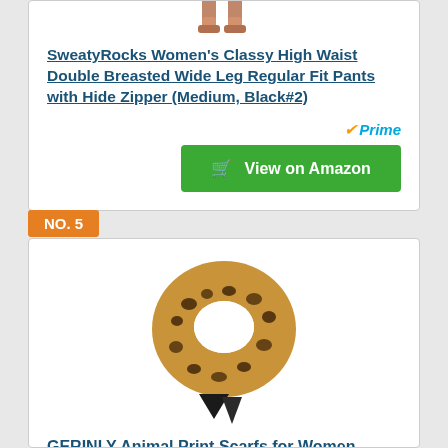[Figure (photo): Product image of women's pants (partial, top of card)]
SweatyRocks Women's Classy High Waist Double Breasted Wide Leg Regular Fit Pants with Hide Zipper (Medium, Black#2)
[Figure (logo): Amazon Prime badge with checkmark]
View on Amazon
NO. 5
[Figure (photo): Leopard animal print scarf tied in a knot, black border]
GERINLY Animal Print Scarfs for Women